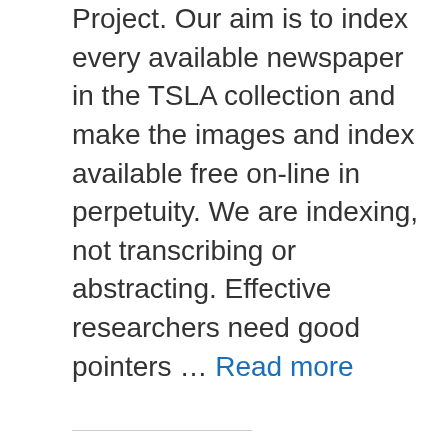Project. Our aim is to index every available newspaper in the TSLA collection and make the images and index available free on-line in perpetuity. We are indexing, not transcribing or abstracting. Effective researchers need good pointers … Read more
Share this:
Post  More
General Information
Did You